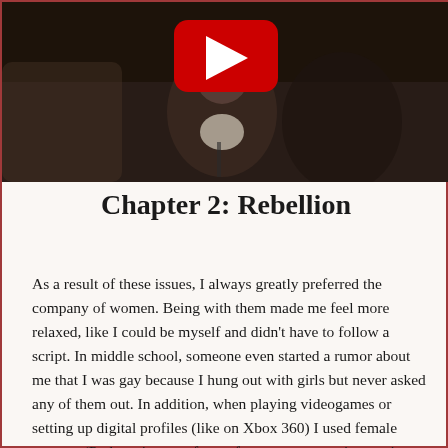[Figure (screenshot): A YouTube video thumbnail showing a woman at a podium/microphone, with a red YouTube play button overlay in the center-top area of the image.]
Chapter 2: Rebellion
As a result of these issues, I always greatly preferred the company of women. Being with them made me feel more relaxed, like I could be myself and didn't have to follow a script. In middle school, someone even started a rumor about me that I was gay because I hung out with girls but never asked any of them out. In addition, when playing videogames or setting up digital profiles (like on Xbox 360) I used female avatars. (Perhaps it was a form of escape, or experimentation since I couldn't